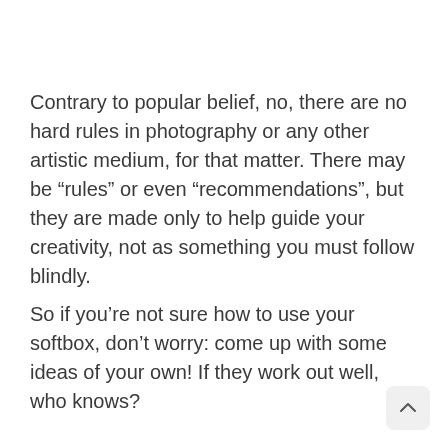Contrary to popular belief, no, there are no hard rules in photography or any other artistic medium, for that matter. There may be “rules” or even “recommendations”, but they are made only to help guide your creativity, not as something you must follow blindly.
So if you’re not sure how to use your softbox, don’t worry: come up with some ideas of your own! If they work out well, who knows?